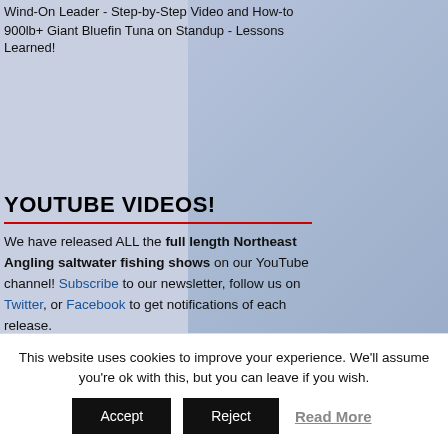Wind-On Leader - Step-by-Step Video and How-to
900lb+ Giant Bluefin Tuna on Standup - Lessons Learned!
YOUTUBE VIDEOS!
We have released ALL the full length Northeast Angling saltwater fishing shows on our YouTube channel! Subscribe to our newsletter, follow us on Twitter, or Facebook to get notifications of each release.
Visit our YouTube Channel to see the most recent video releases.
RECENT VIDEOS
[Figure (photo): A partial thumbnail of a video showing two people on a boat at sea]
This website uses cookies to improve your experience. We'll assume you're ok with this, but you can leave if you wish.